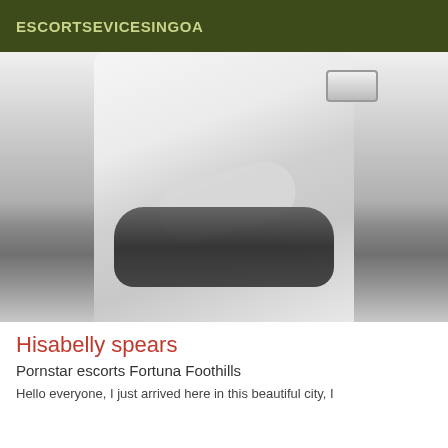ESCORTSEVICESINGOA
[Figure (photo): Black and white photograph of a woman's torso wearing black lingerie with a bracelet accessory]
Hisabelly spears
Pornstar escorts Fortuna Foothills
Hello everyone, I just arrived here in this beautiful city, I